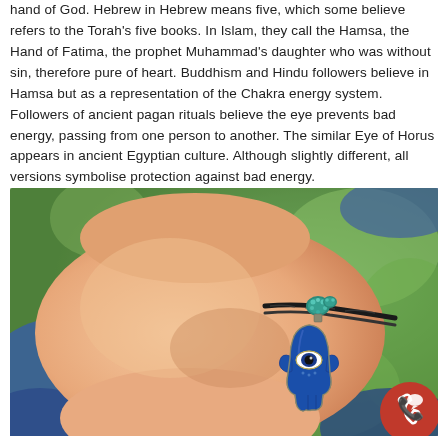hand of God. Hebrew in Hebrew means five, which some believe refers to the Torah's five books. In Islam, they call the Hamsa, the Hand of Fatima, the prophet Muhammad's daughter who was without sin, therefore pure of heart. Buddhism and Hindu followers believe in Hamsa but as a representation of the Chakra energy system. Followers of ancient pagan rituals believe the eye prevents bad energy, passing from one person to another. The similar Eye of Horus appears in ancient Egyptian culture. Although slightly different, all versions symbolise protection against bad energy.
[Figure (photo): Close-up photograph of a person's wrist wearing a black cord bracelet with a blue Hamsa hand charm featuring an evil eye design, with a teal beaded connector. The hand is shown against a blurred green background.]